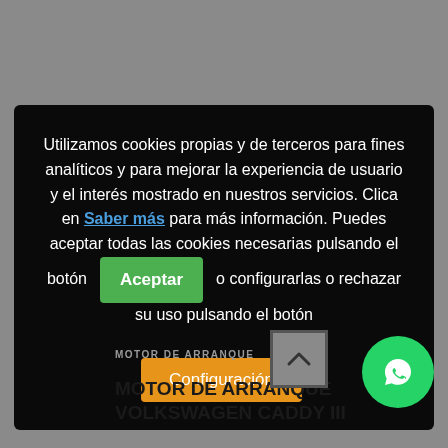[Figure (screenshot): Cookie consent overlay dialog on a grey background. Contains text about cookies usage, a blue underlined 'Saber más' link, a green 'Aceptar' button, and an orange 'Configuración' button.]
Utilizamos cookies propias y de terceros para fines analíticos y para mejorar la experiencia de usuario y el interés mostrado en nuestros servicios. Clica en Saber más para más información. Puedes aceptar todas las cookies necesarias pulsando el botón Aceptar o configurarlas o rechazar su uso pulsando el botón Configuración.
MOTOR DE ARRANQUE
MOTOR DE ARRANQUE VOLKSWAGEN CADDY III